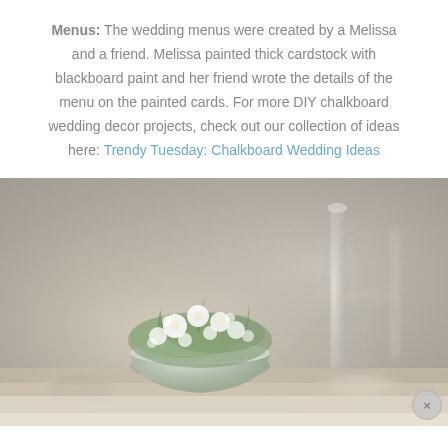Menus: The wedding menus were created by a Melissa and a friend. Melissa painted thick cardstock with blackboard paint and her friend wrote the details of the menu on the painted cards. For more DIY chalkboard wedding decor projects, check out our collection of ideas here: Trendy Tuesday: Chalkboard Wedding Ideas
[Figure (photo): A floral centerpiece arrangement in a pale gray bowl/urn on a wooden table, with white flowers and greenery. In the background, tall glass candlesticks are visible, along with other table settings in a warm, softly blurred setting.]